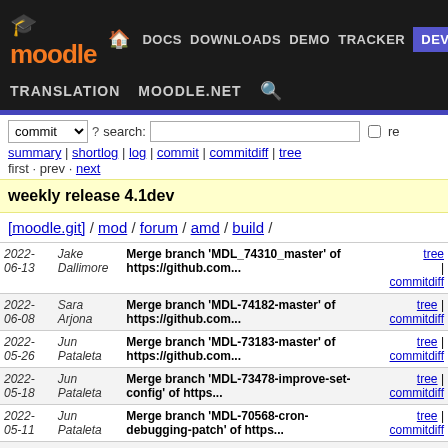moodle — DOCS DOWNLOADS DEMO TRACKER DEV — TRANSLATION MOODLE.NET
commit ▾  ? search:  □ re
summary | shortlog | log | commit | commitdiff | tree
first · prev · next
weekly release 4.1dev
[moodle.git] / mod / forum / amd / build /
| Date | Author | Message | Links |
| --- | --- | --- | --- |
| 2022-06-13 | Jake Dallimore | Merge branch 'MDL_74310_master' of https://github.com... | tree | commitdiff |
| 2022-06-08 | Sara Arjona | Merge branch 'MDL-74182-master' of https://github.com... | tree | commitdiff |
| 2022-05-26 | Jun Pataleta | Merge branch 'MDL-73183-master' of https://github.com... | tree | commitdiff |
| 2022-05-18 | Jun Pataleta | Merge branch 'MDL-73478-improve-set-config' of https... | tree | commitdiff |
| 2022-05-11 | Jun Pataleta | Merge branch 'MDL-70568-cron-debugging-patch' of https... | tree | commitdiff |
| 2022-04-08 | Ilya Tregubov | Merge branch 'MDL-73555_master_toolbrickfieldsummarypro... | tree | commitdiff |
| 2022-04-07 | Andrew Nicols | Merge branch 'MDL-74202' of https://github.com/paulhold... | tree | commitdiff |
| 2022-04-06 | Sara Arjona | Merge branch 'MDL-74052' of https://github.com/call... | tree | commitdiff |